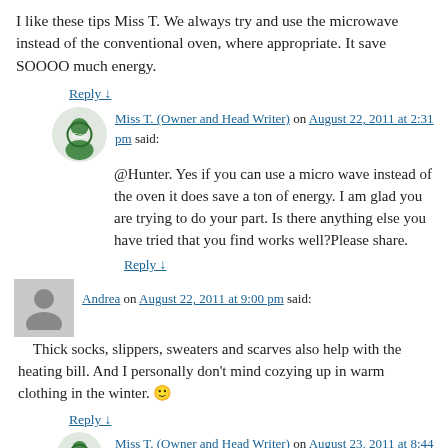I like these tips Miss T. We always try and use the microwave instead of the conventional oven, where appropriate. It save SOOOO much energy.
Reply ↓
Miss T. (Owner and Head Writer) on August 22, 2011 at 2:31 pm said:
@Hunter. Yes if you can use a micro wave instead of the oven it does save a ton of energy. I am glad you are trying to do your part. Is there anything else you have tried that you find works well?Please share.
Reply ↓
Andrea on August 22, 2011 at 9:00 pm said:
Thick socks, slippers, sweaters and scarves also help with the heating bill. And I personally don't mind cozying up in warm clothing in the winter. 🙂
Reply ↓
Miss T. (Owner and Head Writer) on August 23, 2011 at 8:44